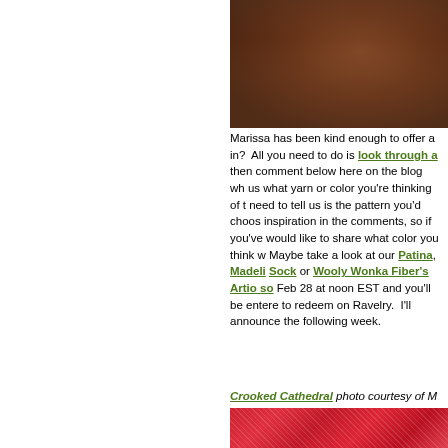[Figure (photo): Close-up photo of a person with reddish-brown hair, cropped at top right of page]
Marissa has been kind enough to offer a in? All you need to do is look through a then comment below here on the blog wh us what yarn or color you're thinking of t need to tell us is the pattern you'd choos inspiration in the comments, so if you've would like to share what color you think w Maybe take a look at our Patina, Madeli Sock or Wooly Wonka Fiber's Artio so Feb 28 at noon EST and you'll be entere to redeem on Ravelry. I'll announce the following week.
Crooked Cathedral photo courtesy of M
[Figure (photo): Photo of a red lace knitted shawl or wrap]